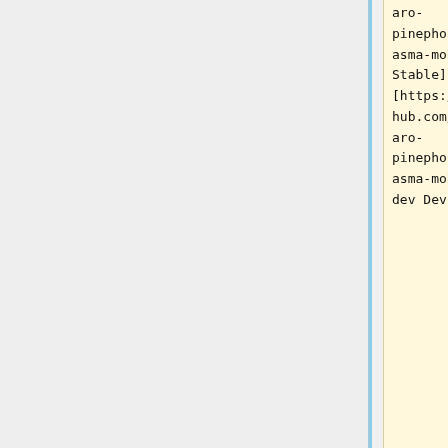aro-pinephone/plasma-mobile Stable] / [https://github.com/manjaro-pinephone/plasma-mobile-dev Dev]
*Lomiri: [https://github.com/manjaro-pinephone/lomiri-dev Dev]
'''username/password'''
For current status and workarounds,